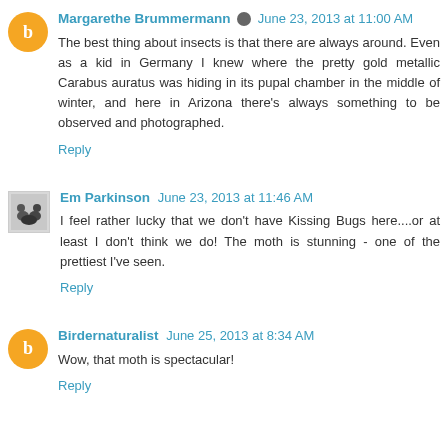Margarethe Brummermann  June 23, 2013 at 11:00 AM
The best thing about insects is that there are always around. Even as a kid in Germany I knew where the pretty gold metallic Carabus auratus was hiding in its pupal chamber in the middle of winter, and here in Arizona there's always something to be observed and photographed.
Reply
Em Parkinson  June 23, 2013 at 11:46 AM
I feel rather lucky that we don't have Kissing Bugs here....or at least I don't think we do! The moth is stunning - one of the prettiest I've seen.
Reply
Birdernaturalist  June 25, 2013 at 8:34 AM
Wow, that moth is spectacular!
Reply